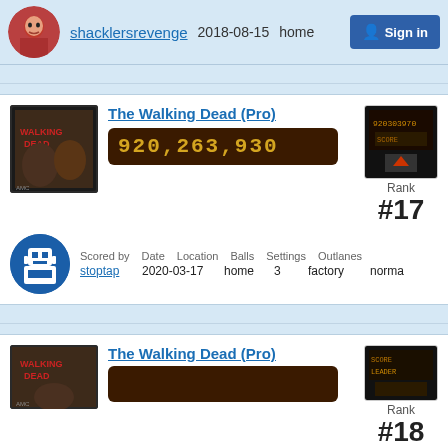shacklersrevenge  2018-08-15  home  Sign in
The Walking Dead (Pro)
920,263,930
Rank #17
Scored by: stoptap  Date: 2020-03-17  Location: home  Balls: 3  Settings: factory  Outlanes: norma
The Walking Dead (Pro)
Rank #18